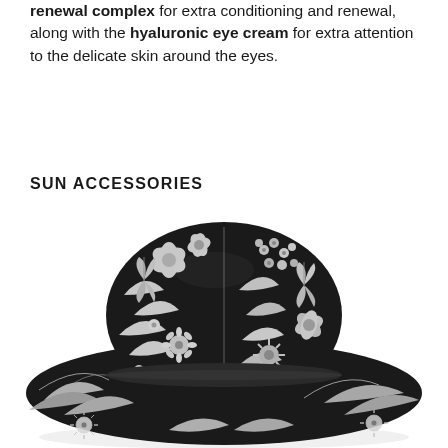renewal complex for extra conditioning and renewal, along with the hyaluronic eye cream for extra attention to the delicate skin around the eyes.
SUN ACCESSORIES
[Figure (photo): A wide-brim sun hat with a black and white floral/botanical pattern featuring flowers, leaves, and butterflies. The hat is a bucket-style with a structured crown and wide brim, photographed from a slightly elevated angle on a white background.]